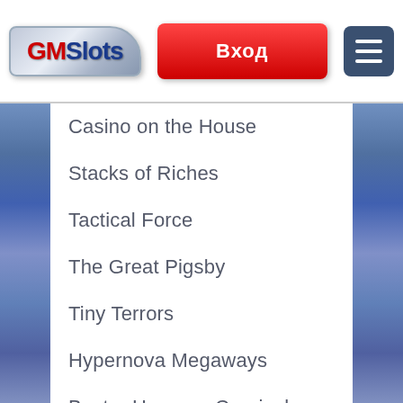[Figure (logo): GMSlots casino logo — silver badge shape with GM in red and Slots in dark blue]
[Figure (screenshot): Red button with white Cyrillic text Вход (Login)]
[Figure (screenshot): Dark blue menu hamburger button with three white lines]
Casino on the House
Stacks of Riches
Tactical Force
The Great Pigsby
Tiny Terrors
Hypernova Megaways
Buster Hammer Carnival
Creepy Castle
Goddess of Asia